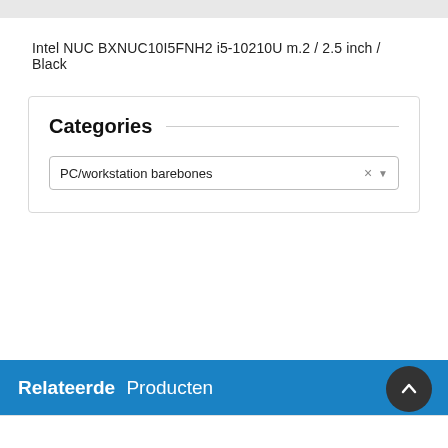Intel NUC BXNUC10I5FNH2 i5-10210U m.2 / 2.5 inch / Black
Categories
PC/workstation barebones
Relateerde Producten